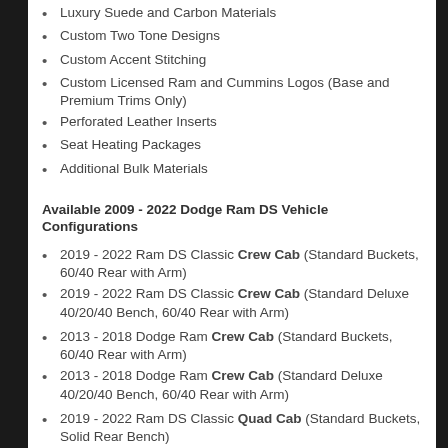Luxury Suede and Carbon Materials
Custom Two Tone Designs
Custom Accent Stitching
Custom Licensed Ram and Cummins Logos (Base and Premium Trims Only)
Perforated Leather Inserts
Seat Heating Packages
Additional Bulk Materials
Available 2009 - 2022 Dodge Ram DS Vehicle Configurations
2019 - 2022 Ram DS Classic Crew Cab (Standard Buckets, 60/40 Rear with Arm)
2019 - 2022 Ram DS Classic Crew Cab (Standard Deluxe 40/20/40 Bench, 60/40 Rear with Arm)
2013 - 2018 Dodge Ram Crew Cab (Standard Buckets, 60/40 Rear with Arm)
2013 - 2018 Dodge Ram Crew Cab (Standard Deluxe 40/20/40 Bench, 60/40 Rear with Arm)
2019 - 2022 Ram DS Classic Quad Cab (Standard Buckets, Solid Rear Bench)
2019 - 2022 Ram DS Classic Quad Cab (Standard Base 40/20/40 Bench, Solid Rear Bench)